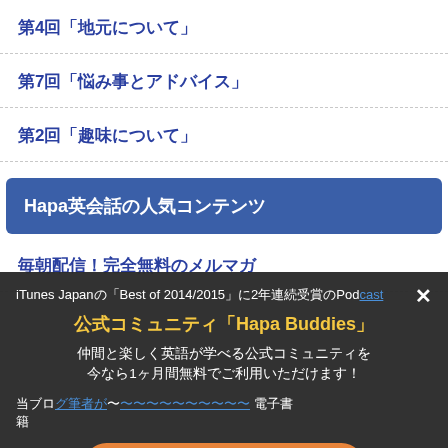第4回「地元について」
第7回「悩み事とアドバイス」
第2回「趣味について」
Hapa英会話の人気コンテンツ
毎朝配信！完全無料のメルマガ
iTunes Japanの「Best of 2014/2015」に2年連続受賞のPodcast
公式コミュニティ「Hapa Buddies」
仲間と楽しく英語が学べる公式コミュニティを
今なら1ヶ月間無料でご利用いただけます！
当ブログ筆者が〜 電子書籍
詳細＆申込みはこちら
当ブログ筆者のセミナー収録映像